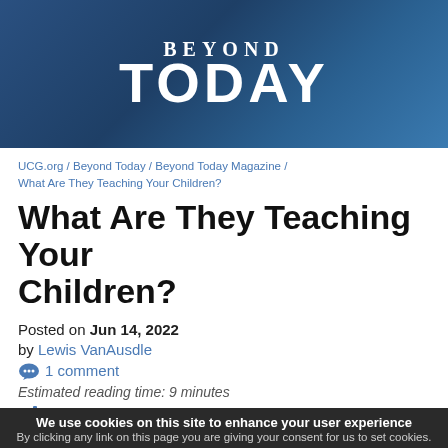[Figure (logo): Beyond Today magazine logo — white text on dark blue gradient background. 'BEYOND' in smaller spaced caps above large bold 'TODAY' text.]
UCG.org / Beyond Today / Beyond Today Magazine / What Are They Teaching Your Children?
What Are They Teaching Your Children?
Posted on Jun 14, 2022
by Lewis VanAusdle
1 comment
Estimated reading time: 9 minutes
Add to my study list
We use cookies on this site to enhance your user experience